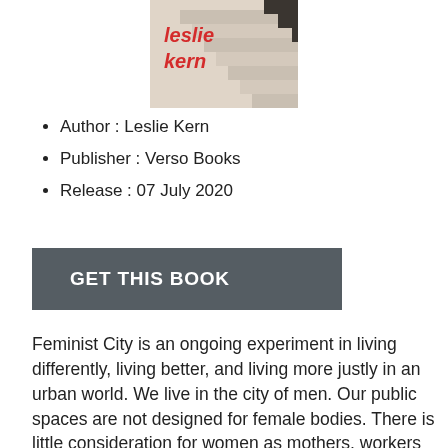[Figure (photo): Book cover of 'Feminist City' by Leslie Kern, showing stairs with the author's name in red italic text on a beige/cream background.]
Author : Leslie Kern
Publisher : Verso Books
Release : 07 July 2020
GET THIS BOOK
Feminist City is an ongoing experiment in living differently, living better, and living more justly in an urban world. We live in the city of men. Our public spaces are not designed for female bodies. There is little consideration for women as mothers, workers or carers. The urban streets often are a place of threats rather than community. Gentrification has made the